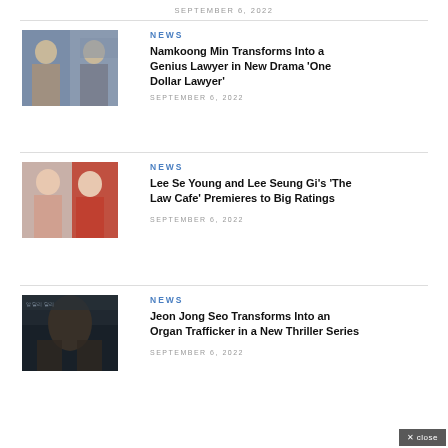SEPTEMBER 6, 2022
NEWS
Namkoong Min Transforms Into a Genius Lawyer in New Drama 'One Dollar Lawyer'
SEPTEMBER 6, 2022
[Figure (photo): Two men standing, one in glasses]
NEWS
Lee Se Young and Lee Seung Gi's 'The Law Cafe' Premieres to Big Ratings
SEPTEMBER 6, 2022
[Figure (photo): A woman and a man, drama poster]
NEWS
Jeon Jong Seo Transforms Into an Organ Trafficker in a New Thriller Series
SEPTEMBER 6, 2022
[Figure (photo): Dark thriller drama poster with figures]